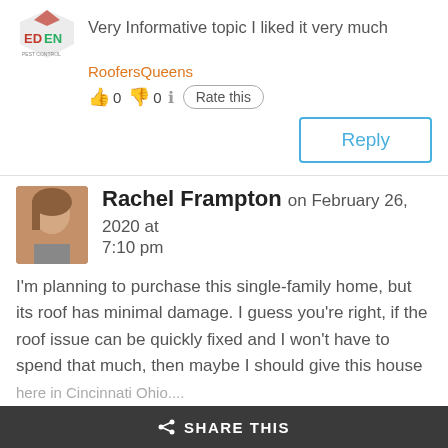Very Informative topic I liked it very much
RoofersQueens
👍 0 👎 0 ℹ Rate this
Reply
Rachel Frampton on February 26, 2020 at 7:10 pm
I'm planning to purchase this single-family home, but its roof has minimal damage. I guess you're right, if the roof issue can be quickly fixed and I won't have to spend that much, then maybe I should give this house a chance. Anyways, I'm sure that I'll be able to find an excellent roof repair service around here in Cincinnati Ohio.
SHARE THIS